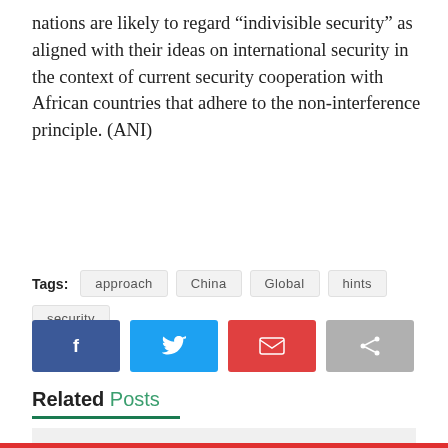nations are likely to regard “indivisible security” as aligned with their ideas on international security in the context of current security cooperation with African countries that adhere to the non-interference principle. (ANI)
Source link
Tags:  approach  China  Global  hints  security
[Figure (infographic): Four social sharing buttons: Facebook (dark blue with f icon), Twitter (light blue with bird icon), Email (red with envelope icon), Share (grey with share icon)]
Related Posts
[Figure (photo): Partial image placeholder for a related post, light grey background]